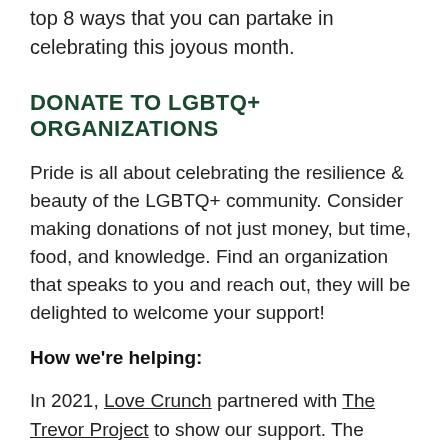top 8 ways that you can partake in celebrating this joyous month.
DONATE TO LGBTQ+ ORGANIZATIONS
Pride is all about celebrating the resilience & beauty of the LGBTQ+ community. Consider making donations of not just money, but time, food, and knowledge. Find an organization that speaks to you and reach out, they will be delighted to welcome your support!
How we're helping:
In 2021, Love Crunch partnered with The Trevor Project to show our support. The Trevor Project is the world's largest suicide